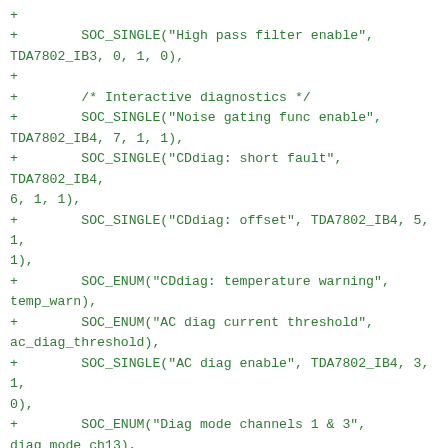+
+        SOC_SINGLE("High pass filter enable",
TDA7802_IB3, 0, 1, 0),
+
+        /* Interactive diagnostics */
+        SOC_SINGLE("Noise gating func enable",
TDA7802_IB4, 7, 1, 1),
+        SOC_SINGLE("CDdiag: short fault", TDA7802_IB4,
6, 1, 1),
+        SOC_SINGLE("CDdiag: offset", TDA7802_IB4, 5, 1,
1),
+        SOC_ENUM("CDdiag: temperature warning",
temp_warn),
+        SOC_ENUM("AC diag current threshold",
ac_diag_threshold),
+        SOC_SINGLE("AC diag enable", TDA7802_IB4, 3, 1,
0),
+        SOC_ENUM("Diag mode channels 1 & 3",
diag_mode_ch13),
+        SOC_ENUM("Diag mode channels 2 & 4",
diag_mode_ch24),
+        SOC_SINGLE("Diag mode enable", TDA7802_IB4, 0,
1, 0),
+
+        SOC_ENUM("Clipping detect channels 1 & 3",
clip_detect_ch13),
+        SOC_ENUM("Clipping detect channels 2 & 4",
clip_detect_ch24),
+};
+